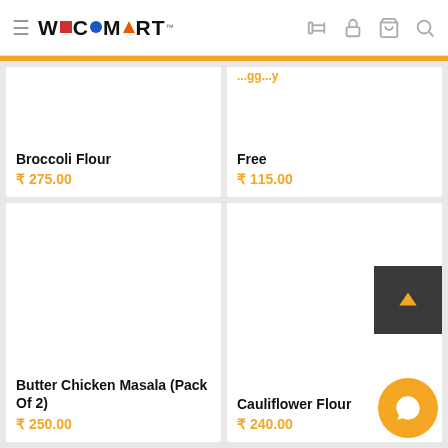WECOMART
Broccoli Flour
₹ 275.00
Free
₹ 115.00
Butter Chicken Masala (Pack Of 2)
₹ 250.00
Cauliflower Flour
₹ 240.00